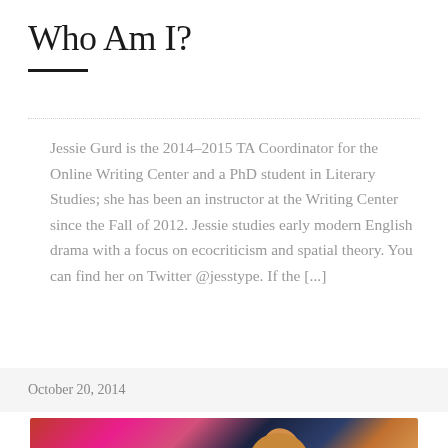Who Am I?
Jessie Gurd is the 2014–2015 TA Coordinator for the Online Writing Center and a PhD student in Literary Studies; she has been an instructor at the Writing Center since the Fall of 2012. Jessie studies early modern English drama with a focus on ecocriticism and spatial theory. You can find her on Twitter @jesstype. If the [...]
October 20, 2014
[Figure (photo): A photo of a dog (appears to be a corgi or fennec-eared dog) against a dark background with colorful textile/fabric visible]